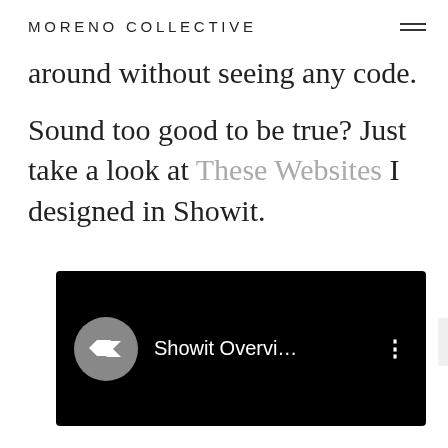MORENO COLLECTIVE
around without seeing any code.
Sound too good to be true? Just take a look at These Websites I designed in Showit.
[Figure (screenshot): A video thumbnail showing the Showit logo (white double-chevron on a gray circle), the title 'Showit Overvi...', and a vertical three-dot menu, all on a black background. A scroll-to-top button is visible on the right.]